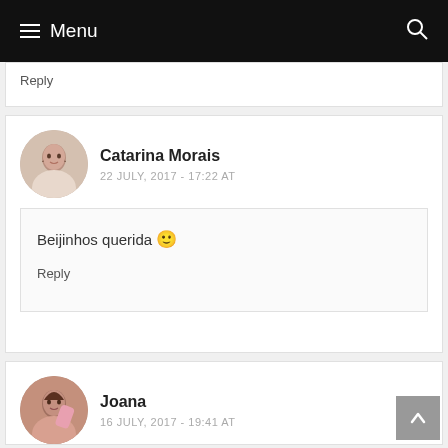Menu
Reply
Catarina Morais
22 JULY, 2017 - 17:22 AT
Beijinhos querida 🙂
Reply
Joana
16 JULY, 2017 - 19:41 AT